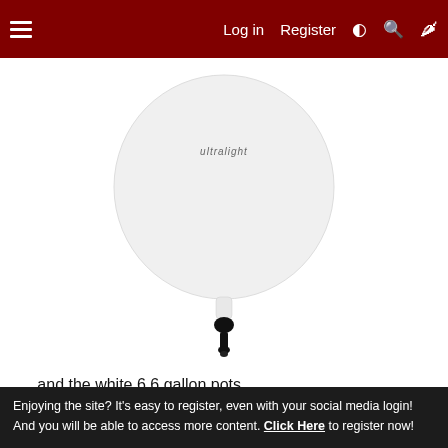Log in  Register
[Figure (photo): White balloon-shaped pot with a black valve/stopper at the bottom, displaying a partially visible brand label near the top.]
….. and the white 6.6 gallon pots
[Figure (photo): Partial view of a white rectangular/square pot with a magnify/zoom icon button in the bottom right corner.]
Enjoying the site? It's easy to register, even with your social media login! And you will be able to access more content. Click Here to register now!